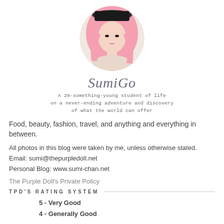[Figure (photo): Circular profile photo of a young woman with long pink hair wearing a black hat, posing with hand near face]
SumiGo
A 20-something-young student of life on a never-ending adventure and discovery of what the world can offer
Food, beauty, fashion, travel, and anything and everything in between.
All photos in this blog were taken by me, unless otherwise stated.
Email: sumi@thepurpledoll.net
Personal Blog: www.sumi-chan.net
The Purple Doll's Private Policy
TPD'S RATING SYSTEM
5 - Very Good
4 - Generally Good